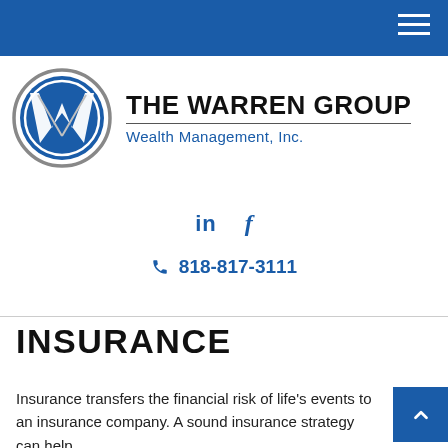Navigation bar with hamburger menu
[Figure (logo): The Warren Group Wealth Management Inc. logo with circular W emblem in blue and grey]
[Figure (infographic): Social media icons: LinkedIn (in) and Facebook (f) in blue]
818-817-3111
INSURANCE
Insurance transfers the financial risk of life's events to an insurance company. A sound insurance strategy can help